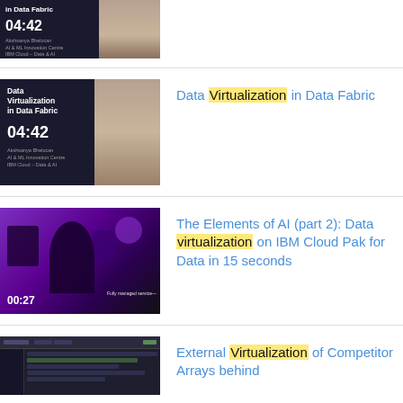[Figure (screenshot): Video thumbnail showing 'in Data Fabric' text with 04:42 timestamp, dark background with presenter]
[Figure (screenshot): Video thumbnail: Data Virtualization in Data Fabric, 04:42 duration, presenter on dark background]
Data Virtualization in Data Fabric
[Figure (screenshot): Video thumbnail: purple/dark graphic with person silhouette and icons, 00:27 duration]
The Elements of AI (part 2): Data virtualization on IBM Cloud Pak for Data in 15 seconds
[Figure (screenshot): Video thumbnail: dark UI screenshot showing a data management interface]
External Virtualization of Competitor Arrays behind